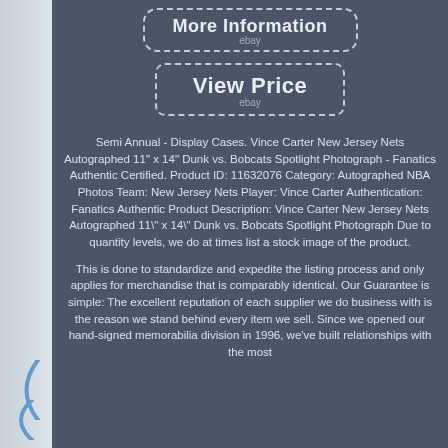[Figure (other): eBay 'More Information' button with dashed border]
[Figure (other): eBay 'View Price' button with dashed border]
Semi Annual - Display Cases. Vince Carter New Jersey Nets Autographed 11" x 14" Dunk vs. Bobcats Spotlight Photograph - Fanatics Authentic Certified. Product ID: 11632076 Category: Autographed NBA Photos Team: New Jersey Nets Player: Vince Carter Authentication: Fanatics Authentic Product Description: Vince Carter New Jersey Nets Autographed 11\" x 14\" Dunk vs. Bobcats Spotlight Photograph Due to quantity levels, we do at times list a stock image of the product.
This is done to standardize and expedite the listing process and only applies for merchandise that is comparably identical. Our Guarantee is simple: The excellent reputation of each supplier we do business with is the reason we stand behind every item we sell. Since we opened our hand-signed memorabilia division in 1996, we've built relationships with the most